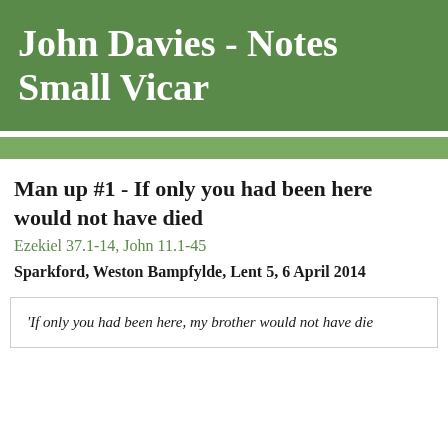John Davies - Notes Small Vicar
Man up #1 - If only you had been here would not have died
Ezekiel 37.1-14, John 11.1-45
Sparkford, Weston Bampfylde, Lent 5, 6 April 2014
'If only you had been here, my brother would not have die…